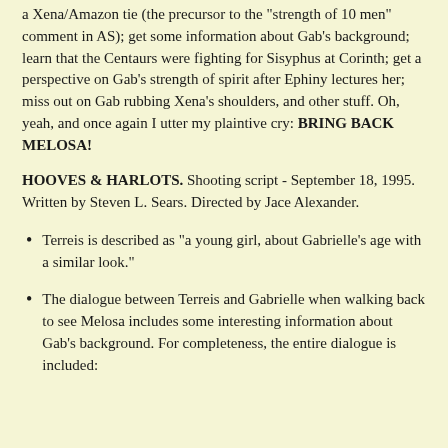a Xena/Amazon tie (the precursor to the "strength of 10 men" comment in AS); get some information about Gab's background; learn that the Centaurs were fighting for Sisyphus at Corinth; get a perspective on Gab's strength of spirit after Ephiny lectures her; miss out on Gab rubbing Xena's shoulders, and other stuff. Oh, yeah, and once again I utter my plaintive cry: BRING BACK MELOSA!
HOOVES & HARLOTS. Shooting script - September 18, 1995. Written by Steven L. Sears. Directed by Jace Alexander.
Terreis is described as "a young girl, about Gabrielle's age with a similar look."
The dialogue between Terreis and Gabrielle when walking back to see Melosa includes some interesting information about Gab's background. For completeness, the entire dialogue is included: